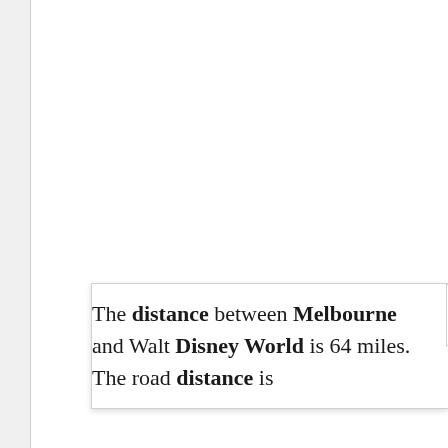The distance between Melbourne and Walt Disney World is 64 miles. The road distance is